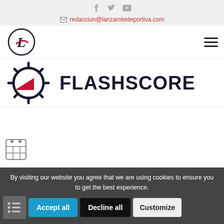[Figure (logo): Social media icons: Facebook, Twitter, YouTube in gray]
redaccion@lanzarotedeportiva.com
[Figure (logo): Lanzarote Deportiva circular logo on left, Flashscore logo (gear icon + FLASHSCORE text) on right]
[Figure (screenshot): White content area, partially visible grid/calendar UI at bottom]
By visiting our website you agree that we are using cookies to ensure you to get the best experience.
[Figure (other): Accept all, Decline all, Customize cookie consent buttons]